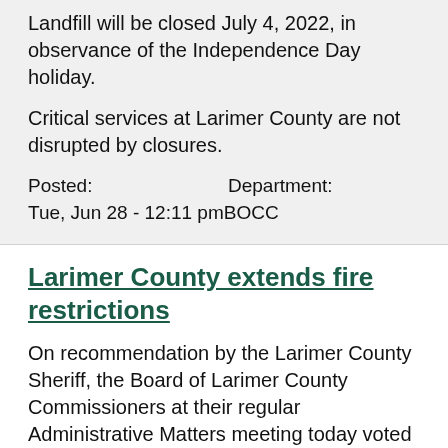Landfill will be closed July 4, 2022, in observance of the Independence Day holiday.
Critical services at Larimer County are not disrupted by closures.
Posted:
Tue, Jun 28 - 12:11 pm
Department:
BOCC
Larimer County extends fire restrictions
On recommendation by the Larimer County Sheriff, the Board of Larimer County Commissioners at their regular Administrative Matters meeting today voted 2-0 to extend the fire restrictions currently in effect in unincorporated Larimer County.
Posted:
Department: